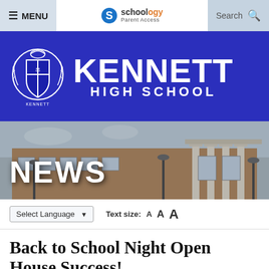≡ MENU | Schoology Parent Access | Search
[Figure (logo): Kennett High School logo with crest on blue banner background. Text reads KENNETT HIGH SCHOOL in white.]
[Figure (photo): Photo of Kennett High School building exterior with brick facade and columns. Overlaid text reads NEWS in large white bold letters.]
Select Language ▼   Text size: A A A
Back to School Night Open House Success!